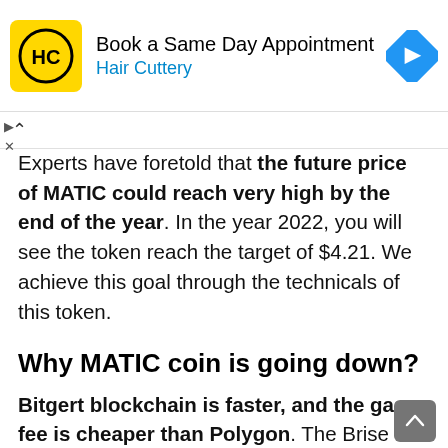[Figure (advertisement): Hair Cuttery advertisement banner: yellow square logo with HC initials, text 'Book a Same Day Appointment' and 'Hair Cuttery' in blue, blue diamond arrow icon on right]
Experts have foretold that the future price of MATIC could reach very high by the end of the year. In the year 2022, you will see the token reach the target of $4.21. We achieve this goal through the technicals of this token.
Why MATIC coin is going down?
Bitgert blockchain is faster, and the gas fee is cheaper than Polygon. The Brise chain compatibility with Ethereum smart contracts is also making it superior to Polygon (MATIC). That's why it might be a